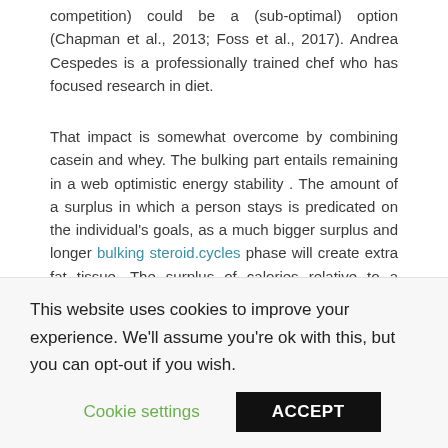competition) could be a (sub-optimal) option (Chapman et al., 2013; Foss et al., 2017). Andrea Cespedes is a professionally trained chef who has focused research in diet.
That impact is somewhat overcome by combining casein and whey. The bulking part entails remaining in a web optimistic energy stability . The amount of a surplus in which a person stays is predicated on the individual's goals, as a much bigger surplus and longer bulking steroid.cycles phase will create extra fat tissue. The surplus of calories relative to a minimal of one's energy balance will ensure that muscles stay in a state of anabolism. The commonest is to deliver calories again as much as a healthy and sustainable level after a protracted weight loss food regimen. For nearly all of
This website uses cookies to improve your experience. We'll assume you're ok with this, but you can opt-out if you wish.
Cookie settings   ACCEPT